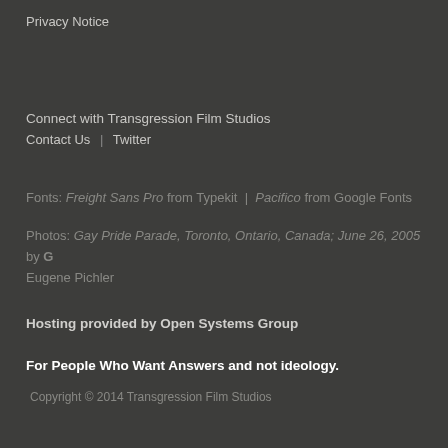Privacy Notice
Connect with Transgression Film Studios
Contact Us  |  Twitter
Fonts: Freight Sans Pro from Typekit  |  Pacifico from Google Fonts
Photos: Gay Pride Parade, Toronto, Ontario, Canada; June 26, 2005 by G Eugene Pichler
Hosting provided by Open Systems Group
For People Who Want Answers and not ideology.
Copyright © 2014 Transgression Film Studios